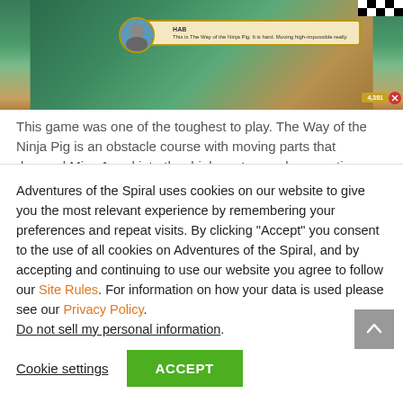[Figure (screenshot): Game screenshot showing 'The Way of the Ninja Pig' with a character dialog box featuring an avatar and checkered border element]
This game was one of the toughest to play. The Way of the Ninja Pig is an obstacle course with moving parts that dropped Miss Angel into the drink, so to speak, many times. Maria Mistmender had trouble keeping a straight face with the graphics of dropping
Adventures of the Spiral uses cookies on our website to give you the most relevant experience by remembering your preferences and repeat visits. By clicking "Accept" you consent to the use of all cookies on Adventures of the Spiral, and by accepting and continuing to use our website you agree to follow our Site Rules. For information on how your data is used please see our Privacy Policy.
Do not sell my personal information.
Cookie settings
ACCEPT